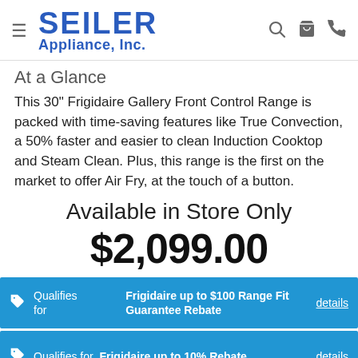SEILER Appliance, Inc.
At a Glance
This 30" Frigidaire Gallery Front Control Range is packed with time-saving features like True Convection, a 50% faster and easier to clean Induction Cooktop and Steam Clean. Plus, this range is the first on the market to offer Air Fry, at the touch of a button.
Available in Store Only
$2,099.00
Qualifies for  Frigidaire up to $100 Range Fit Guarantee Rebate  details
Qualifies for  Frigidaire up to 10% Rebate  details
Qualifies  Exclusive Frigidaire Gallery up...